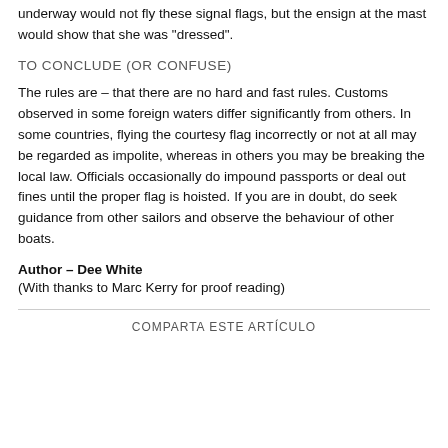underway would not fly these signal flags, but the ensign at the mast would show that she was "dressed".
TO CONCLUDE (OR CONFUSE)
The rules are – that there are no hard and fast rules. Customs observed in some foreign waters differ significantly from others. In some countries, flying the courtesy flag incorrectly or not at all may be regarded as impolite, whereas in others you may be breaking the local law. Officials occasionally do impound passports or deal out fines until the proper flag is hoisted. If you are in doubt, do seek guidance from other sailors and observe the behaviour of other boats.
Author – Dee White
(With thanks to Marc Kerry for proof reading)
COMPARTA ESTE ARTÍCULO